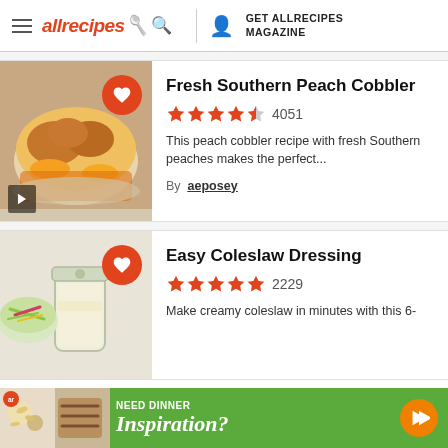allrecipes | GET ALLRECIPES MAGAZINE
[Figure (photo): Peach cobbler in a bowl with golden biscuit topping and peaches]
Fresh Southern Peach Cobbler
★★★★½ 4051
This peach cobbler recipe with fresh Southern peaches makes the perfect...
By aeposey
[Figure (photo): Coleslaw dressing in a mason jar with coleslaw salad in background]
Easy Coleslaw Dressing
★★★★★ 2229
Make creamy coleslaw in minutes with this 6-
[Figure (infographic): Advertisement banner: NEED DINNER Inspiration? with food images and orange arrow button]